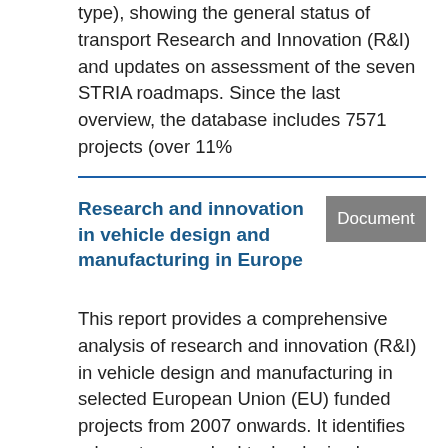type), showing the general status of transport Research and Innovation (R&I) and updates on assessment of the seven STRIA roadmaps. Since the last overview, the database includes 7571 projects (over 11%
Research and innovation in vehicle design and manufacturing in Europe
Document
This report provides a comprehensive analysis of research and innovation (R&I) in vehicle design and manufacturing in selected European Union (EU) funded projects from 2007 onwards. It identifies relevant researched technologies by transport mode and their phase of development. The results show that